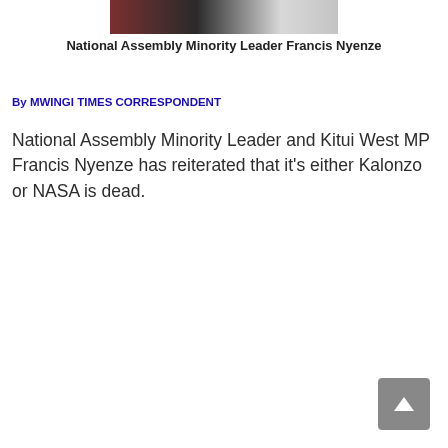[Figure (photo): Partial photo of National Assembly Minority Leader Francis Nyenze, cropped at top of page]
National Assembly Minority Leader Francis Nyenze
By MWINGI TIMES CORRESPONDENT
National Assembly Minority Leader and Kitui West MP Francis Nyenze has reiterated that it's either Kalonzo or NASA is dead.